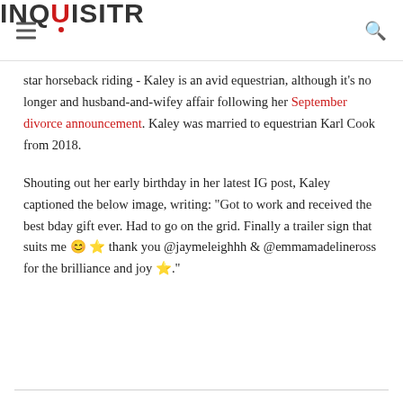INQUISITR
star horseback riding - Kaley is an avid equestrian, although it's no longer and husband-and-wifey affair following her September divorce announcement. Kaley was married to equestrian Karl Cook from 2018.
Shouting out her early birthday in her latest IG post, Kaley captioned the below image, writing: "Got to work and received the best bday gift ever. Had to go on the grid. Finally a trailer sign that suits me 😊 🌟 thank you @jaymeleighhh & @emmamadelineross for the brilliance and joy 🌟."